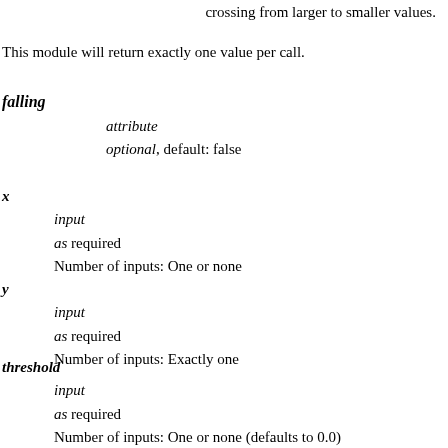You can also define the threshold falling as true to search for a crossing from larger to smaller values.
This module will return exactly one value per call.
falling
attribute
optional, default: false
x
input
as required
Number of inputs: One or none
y
input
as required
Number of inputs: Exactly one
threshold
input
as required
Number of inputs: One or none (defaults to 0.0)
position
output
as not required